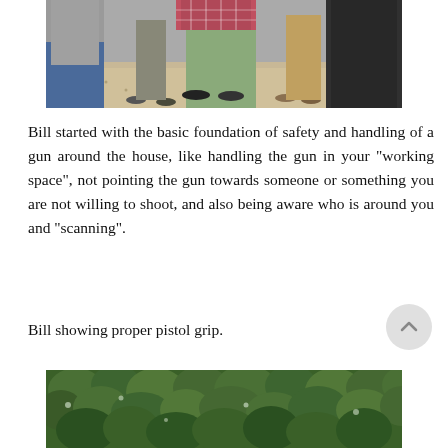[Figure (photo): Outdoor photo showing people standing on gravel ground, visible from waist/torso down. One person on the left wearing a gray shirt and jeans, another in green pants and a plaid shirt, others in the background.]
Bill started with the basic foundation of safety and handling of a gun around the house, like handling the gun in your "working space", not pointing the gun towards someone or something you are not willing to shoot, and also being aware who is around you and "scanning".
Bill showing proper pistol grip.
[Figure (photo): Outdoor photo showing dense green foliage/vegetation, likely bushes or shrubs.]